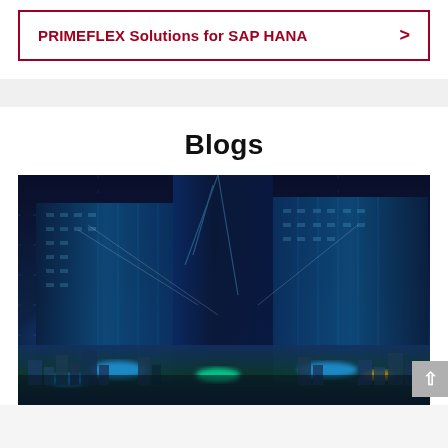PRIMEFLEX Solutions for SAP HANA
Blogs
[Figure (photo): Night cityscape with glowing blue digital grid overlay on tall skyscrapers, futuristic technology themed city photo]